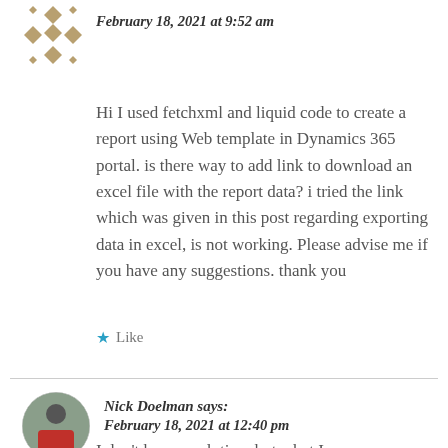[Figure (illustration): Geometric/decorative avatar icon with diamond/star pattern in tan/gold color]
February 18, 2021 at 9:52 am
Hi I used fetchxml and liquid code to create a report using Web template in Dynamics 365 portal. is there way to add link to download an excel file with the report data? i tried the link which was given in this post regarding exporting data in excel, is not working. Please advise me if you have any suggestions. thank you
Like
[Figure (photo): Circular profile photo of Nick Doelman, a person in a red shirt outdoors]
Nick Doelman says:
February 18, 2021 at 12:40 pm
I don't have a solution, but what I